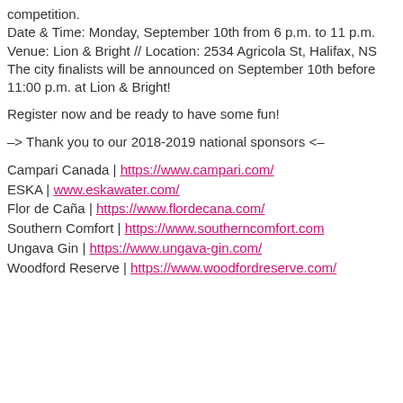competition.
Date & Time: Monday, September 10th from 6 p.m. to 11 p.m.
Venue: Lion & Bright // Location: 2534 Agricola St, Halifax, NS
The city finalists will be announced on September 10th before 11:00 p.m. at Lion & Bright!
Register now and be ready to have some fun!
–> Thank you to our 2018-2019 national sponsors <–
Campari Canada | https://www.campari.com/
ESKA | www.eskawater.com/
Flor de Caña | https://www.flordecana.com/
Southern Comfort | https://www.southerncomfort.com
Ungava Gin | https://www.ungava-gin.com/
Woodford Reserve | https://www.woodfordreserve.com/